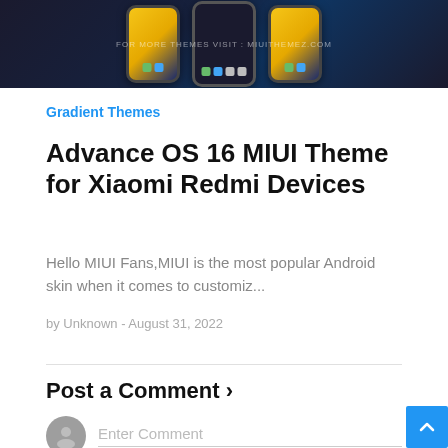[Figure (screenshot): Phone mockups showing iOS-style interface with gradient yellow/gold and dark blue backgrounds, multiple phone screens displayed side by side with app icons visible]
Gradient Themes
Advance OS 16 MIUI Theme for Xiaomi Redmi Devices
Hello MIUI Fans,MIUI is the most popular Android skin when it comes to customiz...
by Unknown - August 31, 2022
Post a Comment ›
Enter Comment